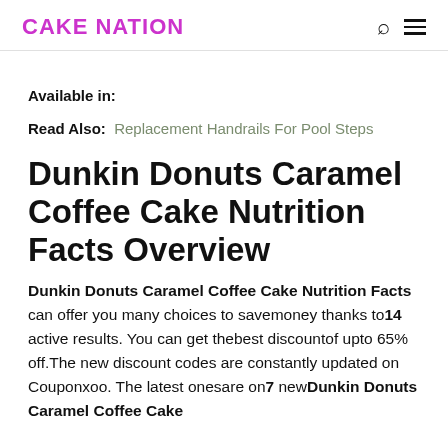CAKE NATION
Available in:
Read Also:  Replacement Handrails For Pool Steps
Dunkin Donuts Caramel Coffee Cake Nutrition Facts Overview
Dunkin Donuts Caramel Coffee Cake Nutrition Facts can offer you many choices to savemoney thanks to14 active results. You can get thebest discountof upto 65% off.The new discount codes are constantly updated on Couponxoo. The latest onesare on7 new Dunkin Donuts Caramel Coffee Cake